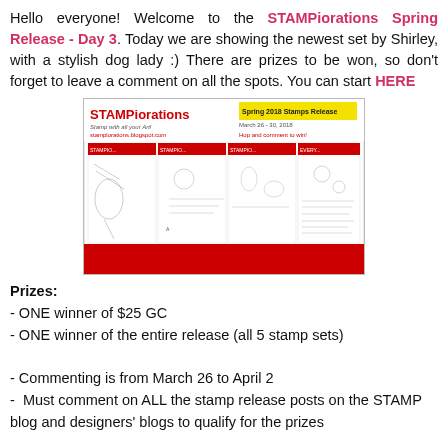Hello everyone! Welcome to the STAMPiorations Spring Release - Day 3. Today we are showing the newest set by Shirley, with a stylish dog lady :) There are prizes to be won, so don't forget to leave a comment on all the spots. You can start HERE
[Figure (photo): STAMPiorations Spring 2018 Stamps Release promotional banner showing multiple stamp sheets with various designs including animals, flowers, and characters. Text reads: STAMPiorations, Stamp with all your Art!, stamplorations.blogspot.com, Spring 2018 Stamps Release, March 26-30, 2018, Hop and comment to win!]
Prizes:
- ONE winner of $25 GC
- ONE winner of the entire release (all 5 stamp sets)

- Commenting is from March 26 to April 2
- Must comment on ALL the stamp release posts on the STAMP blog and designers' blogs to qualify for the prizes
Today we are showcasing another set designed by Shirley